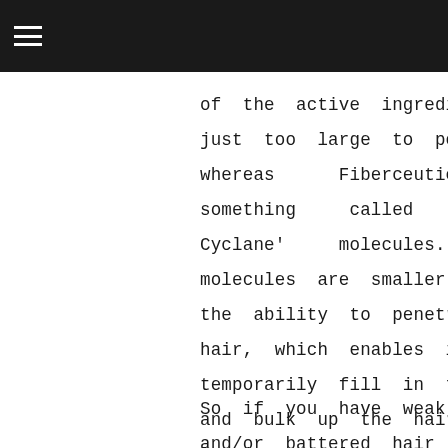≡
of the active ingredient are just too large to penetrate, whereas Fiberceutic has something called 'Intra-Cyclane' molecules. These molecules are smaller and have the ability to penetrate into hair, which enables it to temporarily fill in the gaps and bulk up the hair with long lasting results.
So if you have weak, distressed and/or battered hair from the